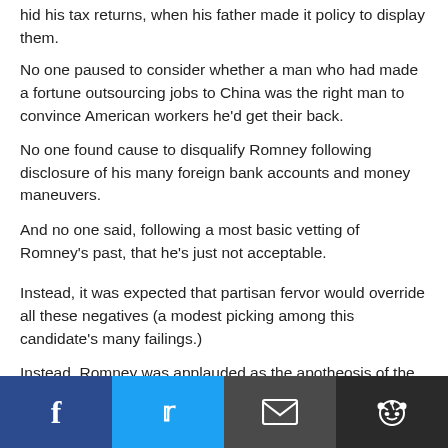hid his tax returns, when his father made it policy to display them.
No one paused to consider whether a man who had made a fortune outsourcing jobs to China was the right man to convince American workers he'd get their back.
No one found cause to disqualify Romney following disclosure of his many foreign bank accounts and money maneuvers.
And no one said, following a most basic vetting of Romney's past, that he's just not acceptable.
Instead, it was expected that partisan fervor would override all these negatives (a modest picking among this candidate's many failings.)
Instead, Romney was applauded as the apotheosis of the GOP, as the best its philosophy could offer, which proves what a failure the GOP philosophy of pandering to the corpocracy is.
Social share bar: Facebook, Twitter, Email, Reddit